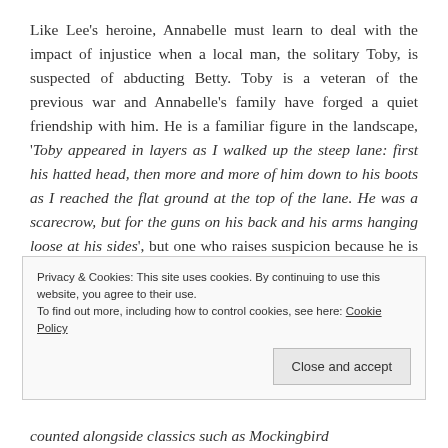Like Lee's heroine, Annabelle must learn to deal with the impact of injustice when a local man, the solitary Toby, is suspected of abducting Betty. Toby is a veteran of the previous war and Annabelle's family have forged a quiet friendship with him. He is a familiar figure in the landscape, 'Toby appeared in layers as I walked up the steep lane: first his hatted head, then more and more of him down to his boots as I reached the flat ground at the top of the lane. He was a scarecrow, but for the guns on his back and his arms hanging loose at his sides', but one who raises suspicion because he is an outsider.
Privacy & Cookies: This site uses cookies. By continuing to use this website, you agree to their use.
To find out more, including how to control cookies, see here: Cookie Policy
Close and accept
counted alongside classics such as Mockingbird